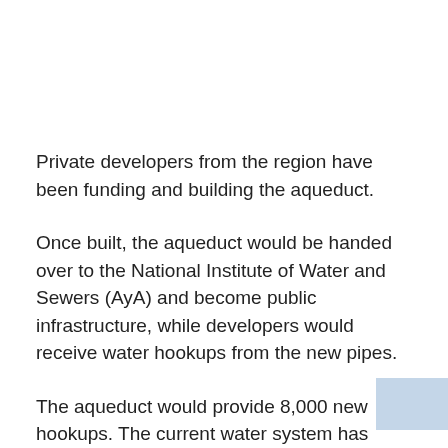Private developers from the region have been funding and building the aqueduct.
Once built, the aqueduct would be handed over to the National Institute of Water and Sewers (AyA) and become public infrastructure, while developers would receive water hookups from the new pipes.
The aqueduct would provide 8,000 new hookups. The current water system has been maxed out for nearly two years as new hotels, homes and condominiums have outpaced existing water supplies.